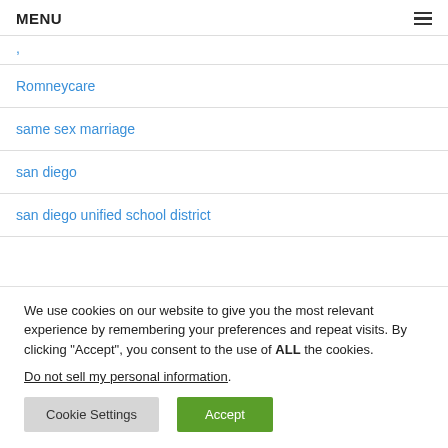MENU
,
Romneycare
same sex marriage
san diego
san diego unified school district
We use cookies on our website to give you the most relevant experience by remembering your preferences and repeat visits. By clicking “Accept”, you consent to the use of ALL the cookies.
Do not sell my personal information.